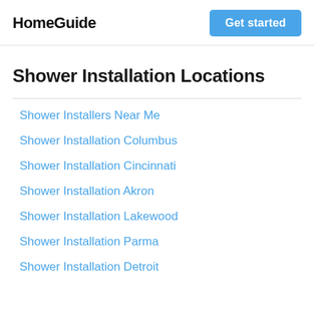HomeGuide
Shower Installation Locations
Shower Installers Near Me
Shower Installation Columbus
Shower Installation Cincinnati
Shower Installation Akron
Shower Installation Lakewood
Shower Installation Parma
Shower Installation Detroit